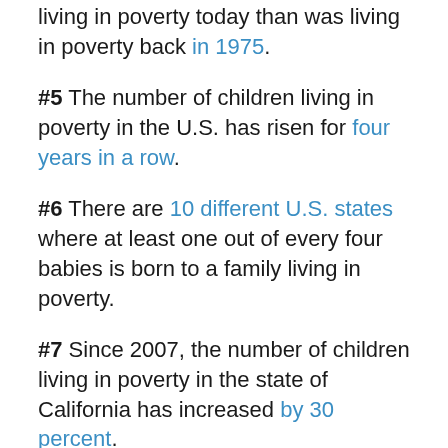living in poverty today than was living in poverty back in 1975.
#5 The number of children living in poverty in the U.S. has risen for four years in a row.
#6 There are 10 different U.S. states where at least one out of every four babies is born to a family living in poverty.
#7 Since 2007, the number of children living in poverty in the state of California has increased by 30 percent.
#8 According to the National Center for Children in Poverty, 36.4% of all children that live in Philadelphia are living in poverty, 40.1% of all children that live in Atlanta are living in